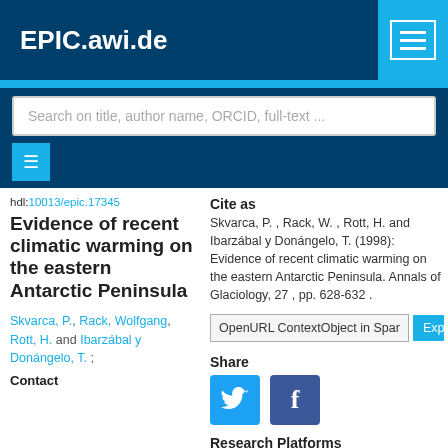EPIC.awi.de
Search on title, author name, ORCID, full-text ...
hdl:10013/epic.17345
Evidence of recent climatic warming on the eastern Antarctic Peninsula
Skvarca, P., Rack, Wolfgang, Rott, H. and Ibarzábal y Donángelo, T. ;
Contact
Cite as
Skvarca, P. , Rack, W. , Rott, H. and Ibarzábal y Donángelo, T. (1998): Evidence of recent climatic warming on the eastern Antarctic Peninsula. Annals of Glaciology, 27 , pp. 628-632 .
OpenURL ContextObject in Span
Share
Research Platforms
N/A
Campaigns
N/A